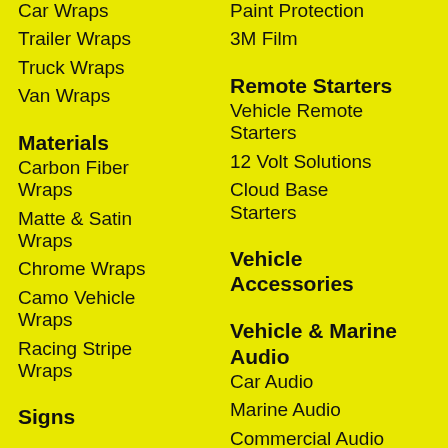Car Wraps
Trailer Wraps
Truck Wraps
Van Wraps
Materials
Carbon Fiber Wraps
Matte & Satin Wraps
Chrome Wraps
Camo Vehicle Wraps
Racing Stripe Wraps
Signs
Paint Protection
3M Film
Remote Starters
Vehicle Remote Starters
12 Volt Solutions
Cloud Base Starters
Vehicle Accessories
Vehicle & Marine Audio
Car Audio
Marine Audio
Commercial Audio